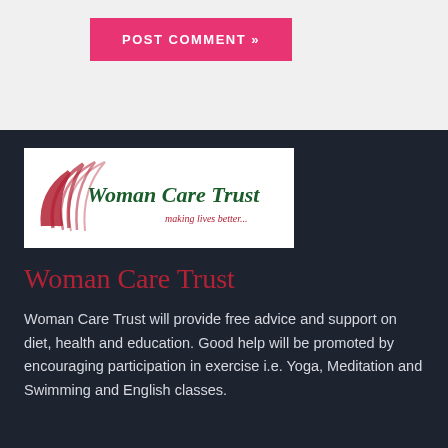[Figure (other): Pink/red button labeled POST COMMENT »]
[Figure (logo): Woman Care Trust logo — red swoosh arcs on left, dark green cursive text 'Woman Care Trust', red italic tagline 'making lives better...' on white background]
Woman Care Trust
Woman Care Trust will provide free advice and support on diet, health and education. Good help will be promoted by encouraging participation in exercise i.e. Yoga, Meditation and Swimming and English classes.